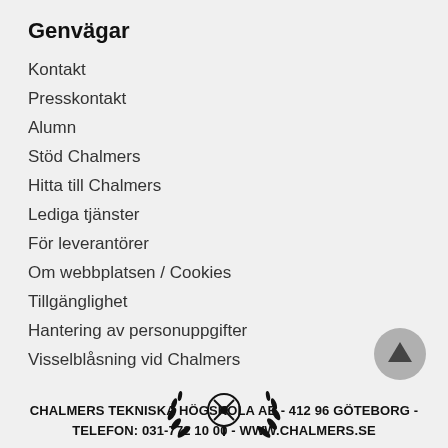Genvägar
Kontakt
Presskontakt
Alumn
Stöd Chalmers
Hitta till Chalmers
Lediga tjänster
För leverantörer
Om webbplatsen / Cookies
Tillgänglighet
Hantering av personuppgifter
Visselblåsning vid Chalmers
CHALMERS TEKNISKA HÖGSKOLA AB - 412 96 GÖTEBORG - TELEFON: 031-772 10 00 - WWW.CHALMERS.SE
[Figure (logo): Chalmers university crest/logo at bottom center]
[Figure (other): Scroll to top button, circular grey button with upward arrow]